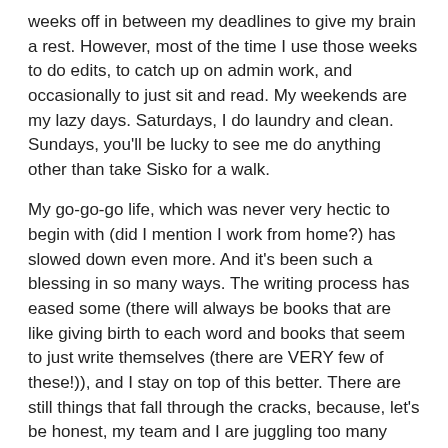weeks off in between my deadlines to give my brain a rest. However, most of the time I use those weeks to do edits, to catch up on admin work, and occasionally to just sit and read. My weekends are my lazy days. Saturdays, I do laundry and clean. Sundays, you'll be lucky to see me do anything other than take Sisko for a walk.
My go-go-go life, which was never very hectic to begin with (did I mention I work from home?) has slowed down even more. And it's been such a blessing in so many ways. The writing process has eased some (there will always be books that are like giving birth to each word and books that seem to just write themselves (there are VERY few of these!)), and I stay on top of this better. There are still things that fall through the cracks, because, let's be honest, my team and I are juggling too many things at once. But it's gotten easier. I made my life easier, because I started my self-care.
Remember the triangle?
Self-care — Self-respect — Self-love